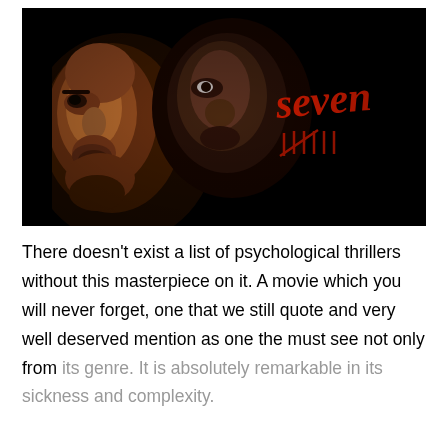[Figure (photo): Movie poster for 'Seven' (Se7en) showing two actors' faces in dark dramatic lighting against a black background, with the title 'seven' written in red stylized lettering and tally marks below it.]
There doesn't exist a list of psychological thrillers without this masterpiece on it. A movie which you will never forget, one that we still quote and very well deserved mention as one the must see not only from its genre. It is absolutely remarkable in its sickness and complexity.